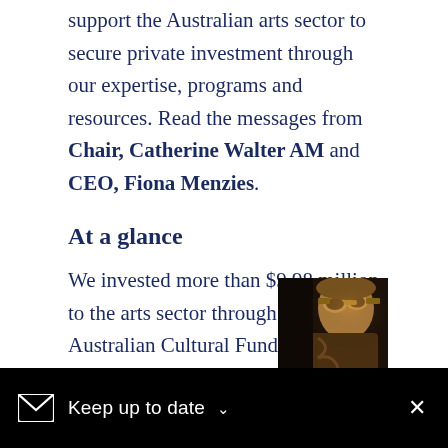support the Australian arts sector to secure private investment through our expertise, programs and resources. Read the messages from Chair, Catherine Walter AM and CEO, Fiona Menzies.
At a glance
We invested more than $9.98 million to the arts sector through the Australian Cultural Fund and our matched funding programs.
Australian Cultural Fund
This year our online fundraising platform
[Figure (photo): Partial photo of a person wearing aviator goggles and a scarf/costume, visible in the bottom-right corner of the page behind the black banner]
Keep up to date ×